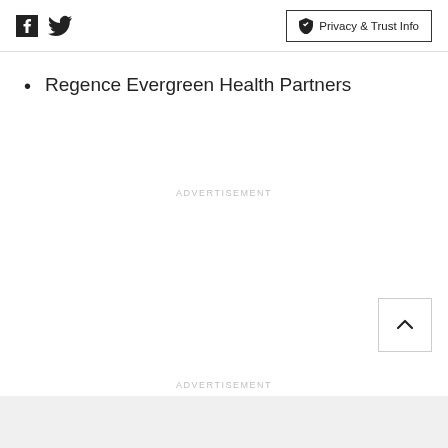Facebook Twitter | Privacy & Trust Info
Regence Evergreen Health Partners
ADVERTISEMENT
ADVERTISEMENT